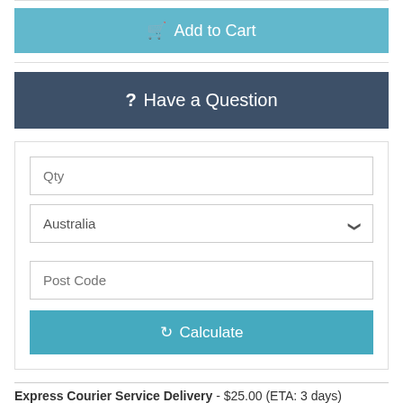[Figure (screenshot): Add to Cart button - light blue/teal button with shopping cart icon]
[Figure (screenshot): Have a Question button - dark navy/slate button with question mark icon]
[Figure (screenshot): Shipping calculator section with Qty input, Australia dropdown, Post Code input, and Calculate button]
Express Courier Service Delivery - $25.00 (ETA: 3 days)
Ships within 24 Hours. Please allow for delays due to